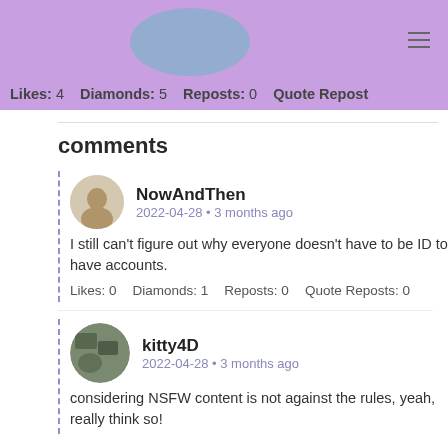Likes: 4   Diamonds: 5   Reposts: 0   Quote Reposts
comments
NowAndThen
2022-04-28 • 3 months ago
I still can't figure out why everyone doesn't have to be ID to have accounts.
Likes: 0   Diamonds: 1   Reposts: 0   Quote Reposts: 0
kitty4D
2022-04-28 • 3 months ago
considering NSFW content is not against the rules, yeah, really think so!